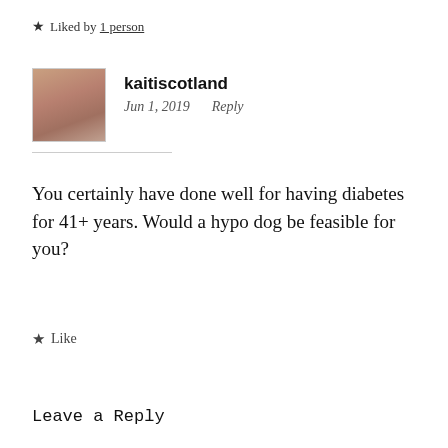★ Liked by 1 person
kaitiscotland
Jun 1, 2019   Reply
You certainly have done well for having diabetes for 41+ years. Would a hypo dog be feasible for you?
★ Like
Leave a Reply